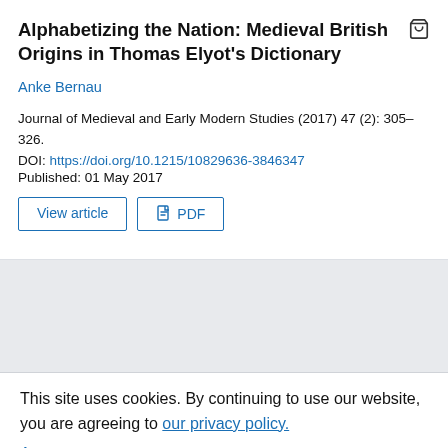Alphabetizing the Nation: Medieval British Origins in Thomas Elyot's Dictionary
Anke Bernau
Journal of Medieval and Early Modern Studies (2017) 47 (2): 305–326.
DOI: https://doi.org/10.1215/10829636-3846347
Published: 01 May 2017
This site uses cookies. By continuing to use our website, you are agreeing to our privacy policy.
Accept
EMAIL ALERTS